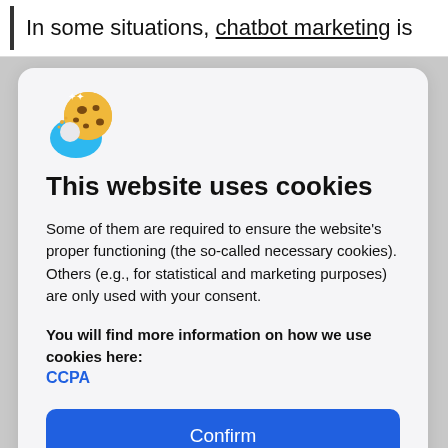In some situations, chatbot marketing is
[Figure (illustration): Cookie emoji icon with blue shape behind it (cookie consent dialog icon)]
This website uses cookies
Some of them are required to ensure the website's proper functioning (the so-called necessary cookies). Others (e.g., for statistical and marketing purposes) are only used with your consent.
You will find more information on how we use cookies here: CCPA
Confirm
Do not sell my personal information